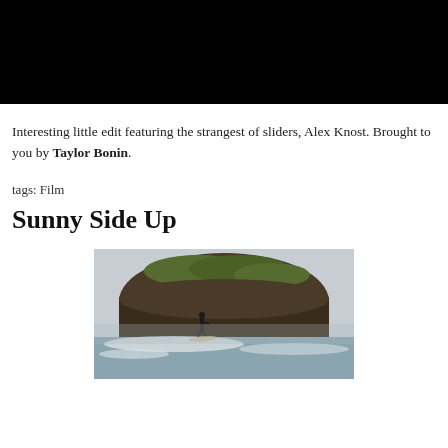[Figure (photo): Black rectangle at top of page, partially cropped video/image frame with black background]
Interesting little edit featuring the strangest of sliders, Alex Knost. Brought to you by Taylor Bonin.
tags: Film
Sunny Side Up
[Figure (photo): Surfer riding waves in front of a large rocky outcrop covered with green vegetation, ocean spray visible, overcast sky]